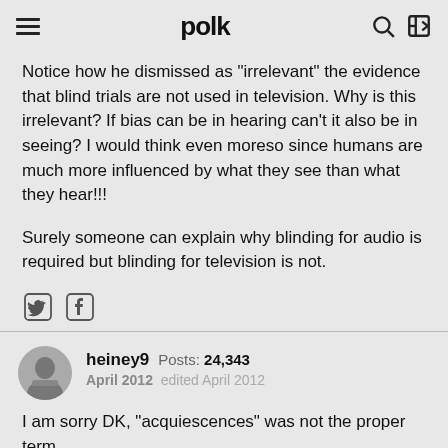polk
Notice how he dismissed as "irrelevant" the evidence that blind trials are not used in television. Why is this irrelevant? If bias can be in hearing can't it also be in seeing? I would think even moreso since humans are much more influenced by what they see than what they hear!!!
Surely someone can explain why blinding for audio is required but blinding for television is not.
heiney9  Posts: 24,343  April 2012  edited April 2012
I am sorry DK, "acquiescences" was not the proper term